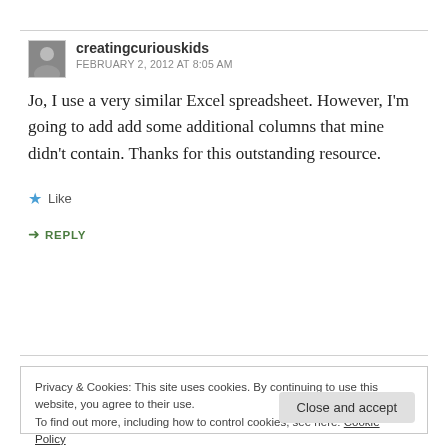creatingcuriouskids
FEBRUARY 2, 2012 AT 8:05 AM
Jo, I use a very similar Excel spreadsheet. However, I'm going to add add some additional columns that mine didn't contain. Thanks for this outstanding resource.
Like
REPLY
Privacy & Cookies: This site uses cookies. By continuing to use this website, you agree to their use.
To find out more, including how to control cookies, see here: Cookie Policy
Close and accept